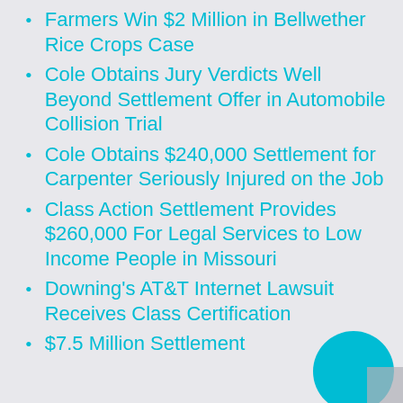Farmers Win $2 Million in Bellwether Rice Crops Case
Cole Obtains Jury Verdicts Well Beyond Settlement Offer in Automobile Collision Trial
Cole Obtains $240,000 Settlement for Carpenter Seriously Injured on the Job
Class Action Settlement Provides $260,000 For Legal Services to Low Income People in Missouri
Downing's AT&T Internet Lawsuit Receives Class Certification
$7.5 Million Settlement